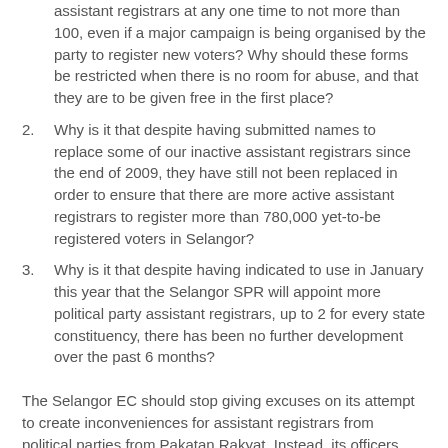assistant registrars at any one time to not more than 100, even if a major campaign is being organised by the party to register new voters? Why should these forms be restricted when there is no room for abuse, and that they are to be given free in the first place?
2. Why is it that despite having submitted names to replace some of our inactive assistant registrars since the end of 2009, they have still not been replaced in order to ensure that there are more active assistant registrars to register more than 780,000 yet-to-be registered voters in Selangor?
3. Why is it that despite having indicated to use in January this year that the Selangor SPR will appoint more political party assistant registrars, up to 2 for every state constituency, there has been no further development over the past 6 months?
The Selangor EC should stop giving excuses on its attempt to create inconveniences for assistant registrars from political parties from Pakatan Rakyat. Instead, its officers should go all out to assist our registrars to ensure that as